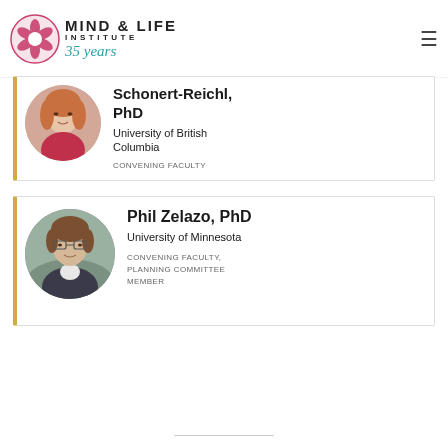MIND & LIFE INSTITUTE 35 years
[Figure (photo): Circular portrait photo of Schonert-Reichl, PhD, partially cropped at top]
Schonert-Reichl, PhD
University of British Columbia
CONVENING FACULTY
[Figure (photo): Circular portrait photo of Phil Zelazo, PhD]
Phil Zelazo, PhD
University of Minnesota
CONVENING FACULTY, PLANNING COMMITTEE MEMBER